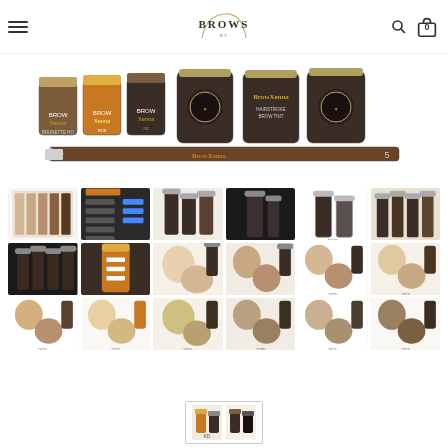BROWS (navigation header with menu, logo, search and cart icons)
[Figure (photo): Main product image showing BrowXenna henna brow tint jars (brunette, amber, dark shades), two round dark jars with gold lids, a labeled BrowXenna hairstroke brow tint jar, another round jar, and a BrowXenna flat brush #5]
[Figure (photo): Grid of 18 product thumbnail images showing BrowXenna brow henna products, color swatches, shade charts, bottles, spray bottles, and before/after model images with numbered shades (201, 375, etc.)]
[Figure (photo): Two selected product thumbnails at the bottom showing BrowXenna henna bottles, highlighted with a border box indicating currently selected product variants]